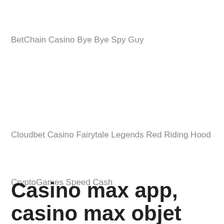BetChain Casino Bye Bye Spy Guy
Cloudbet Casino Fairytale Legends Red Riding Hood
CryptoGames Speed Cash
CryptoGames Bavarian Forest
Casino max app, casino max objet manquant